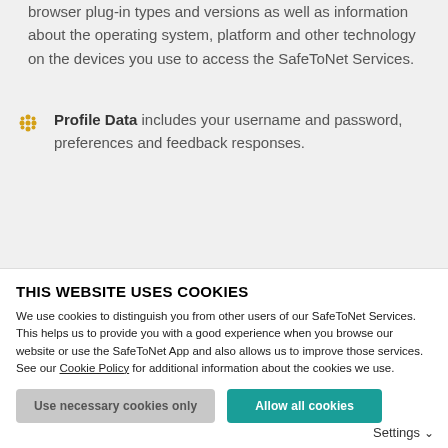browser plug-in types and versions as well as information about the operating system, platform and other technology on the devices you use to access the SafeToNet Services.
Profile Data includes your username and password, preferences and feedback responses.
Usage Data includes information about how you use our SafeToNet Services and data gathered through the operation of the...
THIS WEBSITE USES COOKIES
We use cookies to distinguish you from other users of our SafeToNet Services. This helps us to provide you with a good experience when you browse our website or use the SafeToNet App and also allows us to improve those services. See our Cookie Policy for additional information about the cookies we use.
Use necessary cookies only | Allow all cookies | Settings